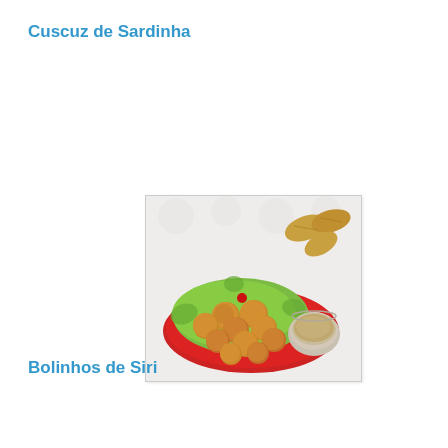Cuscuz de Sardinha
[Figure (photo): Fried fish balls (bolinhos) arranged on a green lettuce leaf on a red plate, served with a dipping sauce in a small bowl, with fried pastries in the background, on a white tablecloth]
Bolinhos de Siri